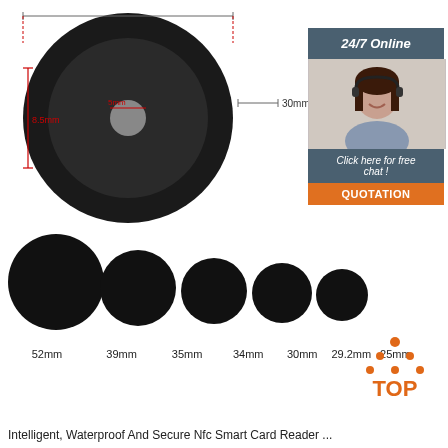[Figure (photo): Product diagram showing a black disc-shaped NFC tag with dimension annotations: 8.5mm height, 5mm inner hole, 30mm outer diameter. Also shows a side profile view with 30mm length annotation. Below are 5 black disc tags of decreasing sizes.]
[Figure (infographic): Chat support widget with '24/7 Online' header, photo of a woman with headset, 'Click here for free chat!' text, and orange QUOTATION button.]
[Figure (logo): TOP logo with orange dots arranged in a triangle above the word TOP in orange.]
52mm   39mm   35mm   34mm   30mm  29.2mm  25mm
Intelligent, Waterproof And Secure Nfc Smart Card Reader ...